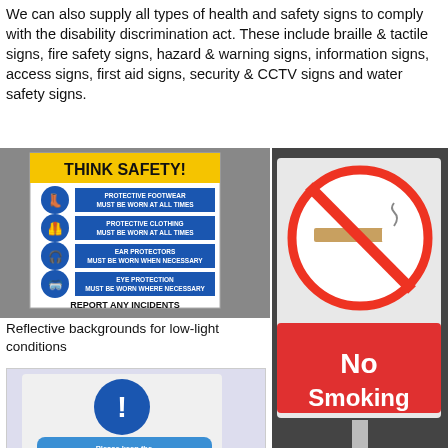We can also supply all types of health and safety signs to comply with the disability discrimination act. These include braille & tactile signs, fire safety signs, hazard & warning signs, information signs, access signs, first aid signs, security & CCTV signs and water safety signs.
[Figure (photo): Health and safety sign reading THINK SAFETY! with mandatory PPE requirements including protective footwear, protective clothing, ear protectors, and eye protection. Bottom reads REPORT ANY INCIDENTS.]
Reflective backgrounds for low-light conditions
[Figure (photo): No Smoking sign with red circle and diagonal bar over cigarette symbol, with red background panel reading No Smoking in white bold text.]
[Figure (photo): Blue information sign with exclamation mark icon and text: Please keep the canteen neat and tidy. Put all perishables in the fridge and wipe down work tops before leaving.]